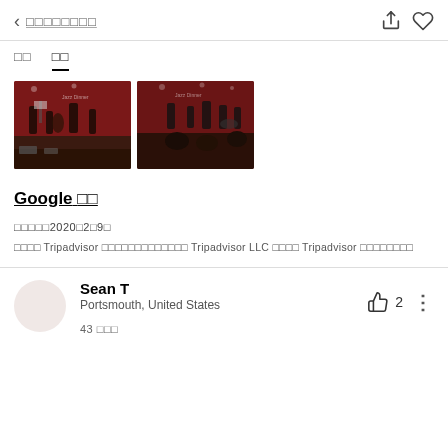< □□□□□□□□
□□  □□
[Figure (photo): Two side-by-side photos of a jazz music performance in a venue with red walls, musicians on stage and audience seated]
Google □□
□□□□□2020□2□9□
□□□□ Tripadvisor □□□□□□□□□□□□□ Tripadvisor LLC □□□□ Tripadvisor □□□□□□□□
Sean T
Portsmouth, United States
43 □□□